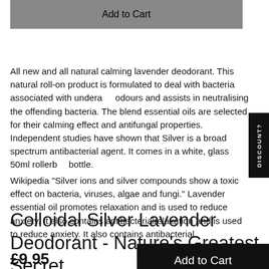[Figure (other): Add to Cart button (grey background, white text) at top of page]
All new and all natural calming lavender deodorant. This natural roll-on product is formulated to deal with bacteria associated with underarm odours and assists in neutralising the offending bacteria. The blend essential oils are selected for their calming effect and antifungal properties. Independent studies have shown that Silver is a broad spectrum antibacterial agent. It comes in a white, glass 50ml rollerball bottle.
Wikipedia "Silver ions and silver compounds show a toxic effect on bacteria, viruses, algae and fungi." Lavender essential oil promotes relaxation and is used to reduce anxiety. It also contains antibacterial
Colloidal Silver Lavender Deodorant - Nature's Greatest Secret
£9.95
[Figure (other): Add to Cart button (black background, white text) at bottom right]